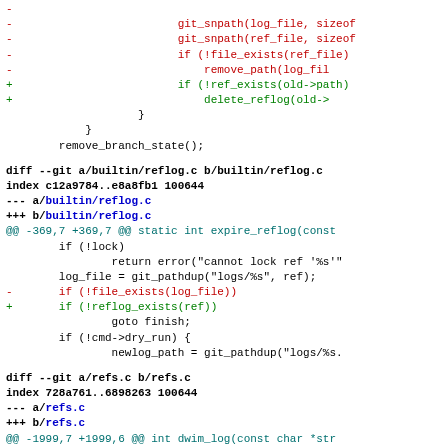Code diff showing changes to builtin/reflog.c and refs.c in a git repository. Includes removal of git_snpath calls and file_exists checks, replaced with ref_exists and reflog_exists calls.